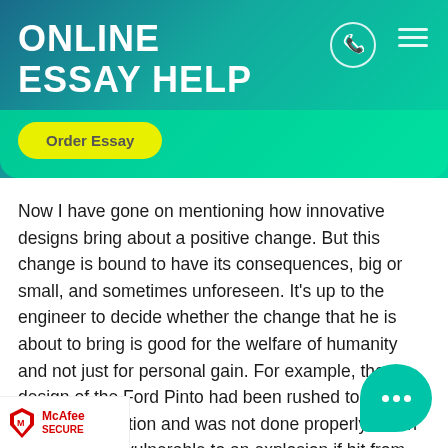ONLINE ESSAY HELP
Order Essay
Now I have gone on mentioning how innovative designs bring about a positive change. But this change is bound to have its consequences, big or small, and sometimes unforeseen. It's up to the engineer to decide whether the change that he is about to bring is good for the welfare of humanity and not just for personal gain. For example, the design of the Ford Pinto had been rushed to fight tough competition and was not done properly which made the car vulnerable to an explosion if hit from behind at more than 20 mph. Ford knew this, and the cost of installing a device that would solve the issue would have been higher than damage due to fatalities
McAfee SECURE